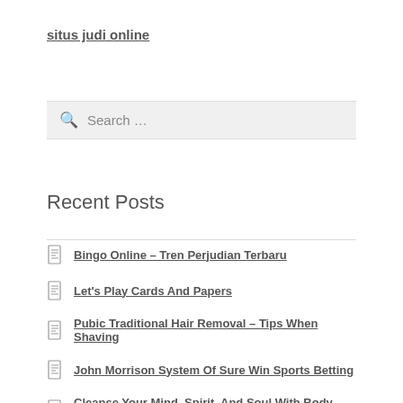situs judi online
Search …
Recent Posts
Bingo Online – Tren Perjudian Terbaru
Let's Play Cards And Papers
Pubic Traditional Hair Removal – Tips When Shaving
John Morrison System Of Sure Win Sports Betting
Cleanse Your Mind, Spirit, And Soul With Body Detoxification